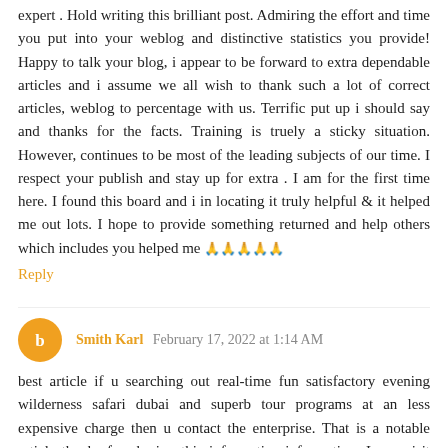expert . Hold writing this brilliant post. Admiring the effort and time you put into your weblog and distinctive statistics you provide! Happy to talk your blog, i appear to be forward to extra dependable articles and i assume we all wish to thank such a lot of correct articles, weblog to percentage with us. Terrific put up i should say and thanks for the facts. Training is truely a sticky situation. However, continues to be most of the leading subjects of our time. I respect your publish and stay up for extra . I am for the first time here. I found this board and i in locating it truly helpful & it helped me out lots. I hope to provide something returned and help others which includes you helped me 🙏🙏🙏🙏🙏
Reply
Smith Karl  February 17, 2022 at 1:14 AM
best article if u searching out real-time fun satisfactory evening wilderness safari dubai and superb tour programs at an less expensive charge then u contact the enterprise. That is a notable article thanks for sharing this informative information. I can visit your blog often for some present day content. i'll visit ur blog for month for some present day content.